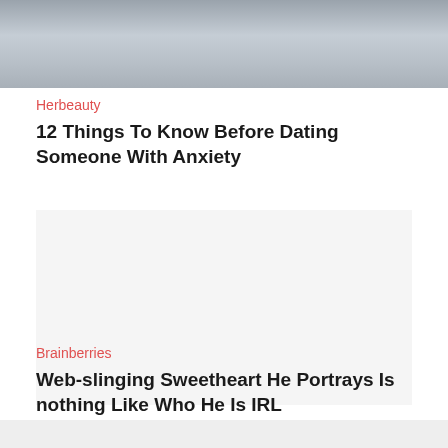[Figure (photo): Partial photo of two people, cropped showing torsos/arms, gray background]
Herbeauty
12 Things To Know Before Dating Someone With Anxiety
[Figure (other): Advertisement/empty ad placeholder area]
Brainberries
Web-slinging Sweetheart He Portrays Is nothing Like Who He Is IRL